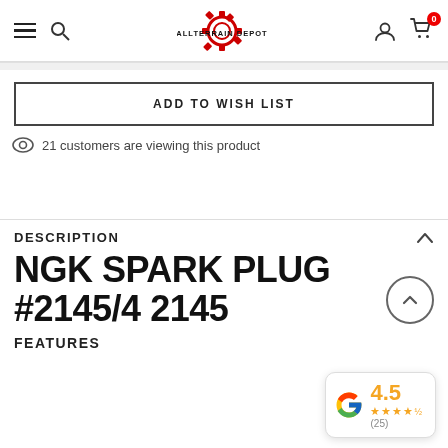ALLTERRAIN DEPOT — navigation header with hamburger menu, search, user icon, cart (0)
ADD TO WISH LIST
21 customers are viewing this product
DESCRIPTION
NGK SPARK PLUG #2145/4 2145
FEATURES
[Figure (logo): Google review badge showing 4.5 star rating with 25 reviews]